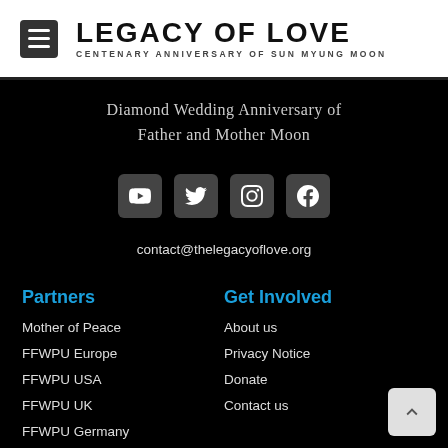[Figure (logo): Legacy of Love logo with hamburger menu icon, bold title text 'LEGACY OF LOVE' and subtitle 'CENTENARY ANNIVERSARY OF SUN MYUNG MOON']
Diamond Wedding Anniversary of Father and Mother Moon
[Figure (infographic): Four social media icon buttons: YouTube, Twitter, Instagram, Facebook on dark rounded square backgrounds]
contact@thelegacyoflove.org
Partners
Get Involved
Mother of Peace
About us
FFWPU Europe
Privacy Notice
FFWPU USA
Donate
FFWPU UK
Contact us
FFWPU Germany